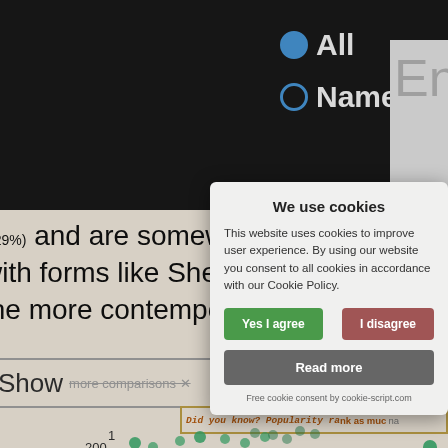[Figure (screenshot): Dark background with radio button options: 'All' (filled/selected) and 'Name', with a text entry box partially visible on right]
1.29%) and are somewhat less convent with forms like Sheri going out of styl the more contemporarily stylish birth
[Figure (screenshot): Show more comparisons button and partial chart strip visible in background]
[Figure (other): Cookie consent modal dialog with title 'We use cookies', body text 'This website uses cookies to improve user experience. By using our website you consent to all cookies in accordance with our Cookie Policy.', buttons 'Yes I agree', 'I disagree', 'Read more', and footer 'Free cookie consent by cookie-script.com']